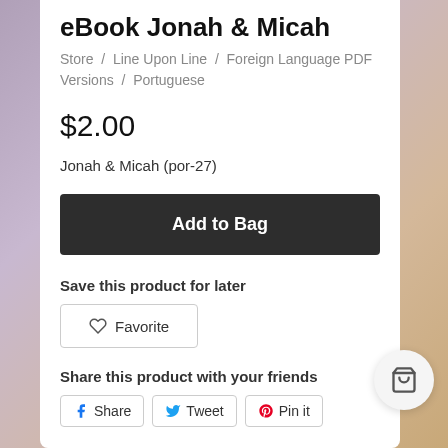eBook Jonah & Micah
Store / Line Upon Line / Foreign Language PDF Versions / Portuguese
$2.00
Jonah & Micah (por-27)
Add to Bag
Save this product for later
Favorite
Share this product with your friends
Share   Tweet   Pin it